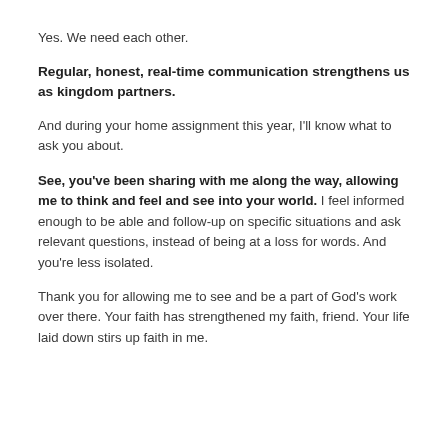Yes. We need each other.
Regular, honest, real-time communication strengthens us as kingdom partners.
And during your home assignment this year, I'll know what to ask you about.
See, you've been sharing with me along the way, allowing me to think and feel and see into your world. I feel informed enough to be able and follow-up on specific situations and ask relevant questions, instead of being at a loss for words. And you're less isolated.
Thank you for allowing me to see and be a part of God's work over there. Your faith has strengthened my faith, friend. Your life laid down stirs up faith in me.